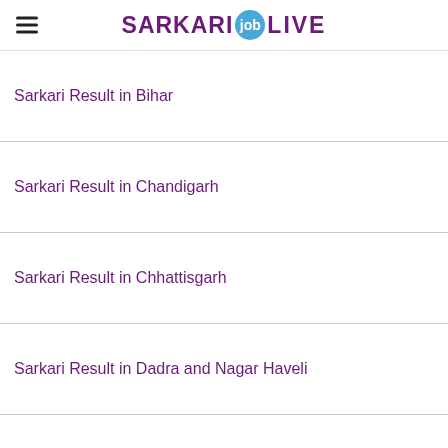SARKARI job LIVE
Sarkari Result in Bihar
Sarkari Result in Chandigarh
Sarkari Result in Chhattisgarh
Sarkari Result in Dadra and Nagar Haveli
Sarkari Result in Daman and Diu
Sarkari Result in Delhi (NCR)
Sarkari Result in Goa